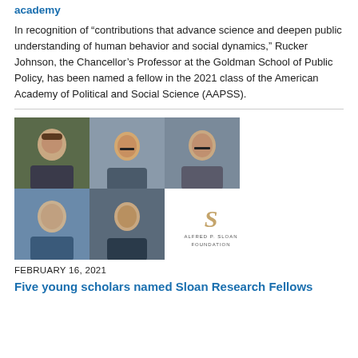academy
In recognition of “contributions that advance science and deepen public understanding of human behavior and social dynamics,” Rucker Johnson, the Chancellor’s Professor at the Goldman School of Public Policy, has been named a fellow in the 2021 class of the American Academy of Political and Social Science (AAPSS).
[Figure (photo): Composite photo grid showing five young scholars (headshots) alongside the Alfred P. Sloan Foundation logo]
FEBRUARY 16, 2021
Five young scholars named Sloan Research Fellows